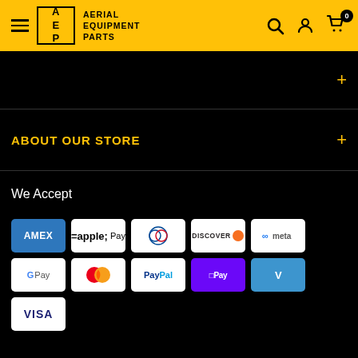[Figure (logo): Aerial Equipment Parts store header with yellow background, hamburger menu, AEP logo box, store name text, search icon, account icon, and cart icon with badge showing 0]
ABOUT OUR STORE
We Accept
[Figure (infographic): Payment method icons: AMEX, Apple Pay, Diners Club, Discover, Meta Pay, Google Pay, Mastercard, PayPal, Shop Pay, Venmo, Visa]
© 2022 Aerial Equipment Parts
Powered by Shopify